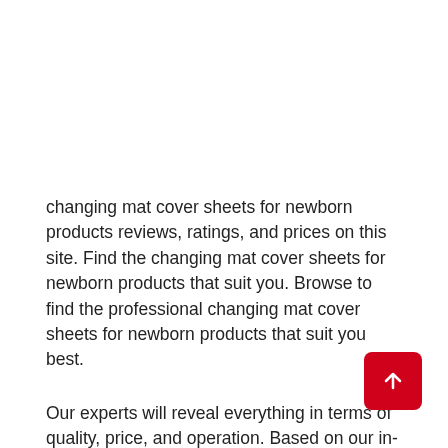changing mat cover sheets for newborn products reviews, ratings, and prices on this site. Find the changing mat cover sheets for newborn products that suit you. Browse to find the professional changing mat cover sheets for newborn products that suit you best.
Our experts will reveal everything in terms of quality, price, and operation. Based on our in-depth reviews, these are the best changing mat cover sheets for newborn products you can buy. The latest changing mat cover sheets for newborn products comments, products, news, suggestions, videos come from our blog.
[Figure (other): Red rounded-corner button with a white upward arrow (scroll-to-top button), positioned at the bottom right of the page.]